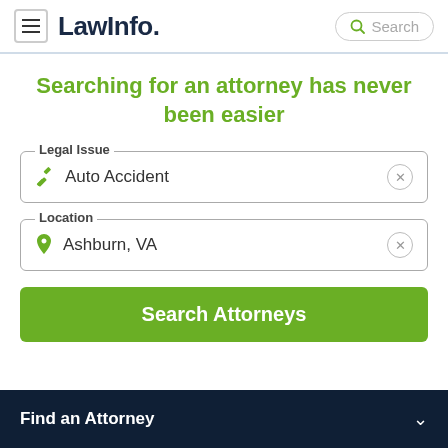LawInfo. Search
Searching for an attorney has never been easier
Legal Issue: Auto Accident
Location: Ashburn, VA
Search Attorneys
Find an Attorney